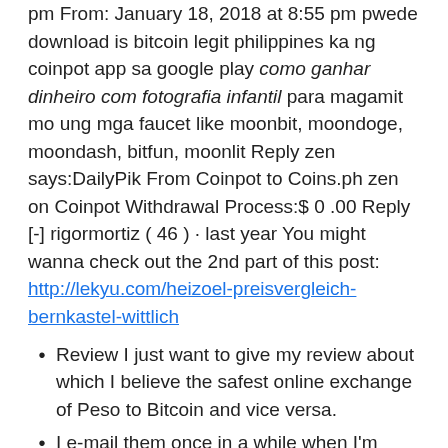pm From: January 18, 2018 at 8:55 pm pwede download is bitcoin legit philippines ka ng coinpot app sa google play como ganhar dinheiro com fotografia infantil para magamit mo ung mga faucet like moonbit, moondoge, moondash, bitfun, moonlit Reply zen says:DailyPik From Coinpot to Coins.ph zen on Coinpot Withdrawal Process:$ 0 .00 Reply [-] rigormortiz ( 46 ) · last year You might wanna check out the 2nd part of this post: http://lekyu.com/heizoel-preisvergleich-bernkastel-wittlich
Review I just want to give my review about which I believe the safest online exchange of Peso to Bitcoin and vice versa.
I e-mail them once in a while when I'm having trouble with rebates.December 4, 2017 at 7:37 pm Wala namang maximum amount ang freebitco.
Reply YSJ says:
Since 2013.grew wary on how to find and determine legit